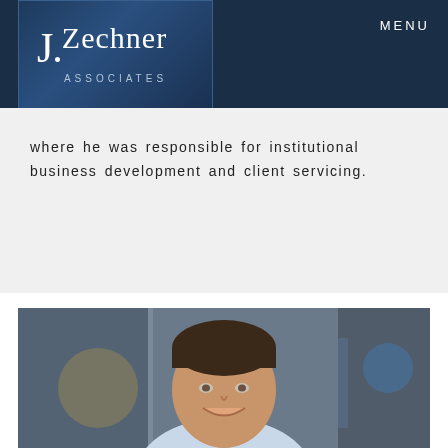[Figure (logo): J.Zechner Associates logo on dark navy blue background]
MENU
where he was responsible for institutional business development and client servicing.
[Figure (photo): Professional headshot of a man with dark hair wearing a light blue shirt, smiling, with blurred urban background]